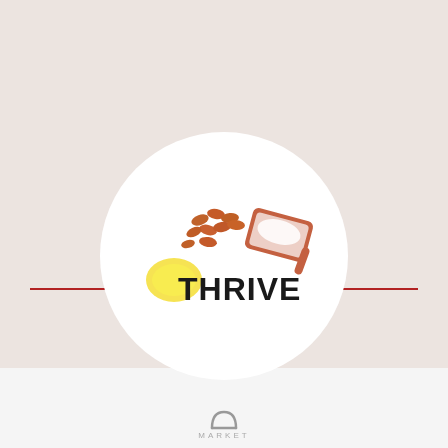[Figure (photo): Thrive Market branded circular image showing almonds, a terracotta scoop with white salt/powder, and a lemon wedge on a white background, with 'THRIVE' text visible on the circle]
[Figure (logo): Thrive Market logo with an arch/bridge icon above the word MARKET in spaced gray letters]